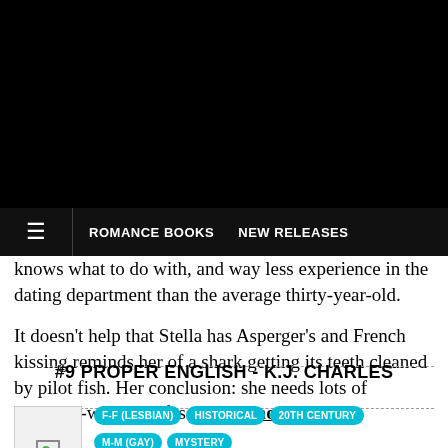ROMANCE BOOKS  NEW RELEASES
knows what to do with, and way less experience in the dating department than the average thirty-year-old.

It doesn't help that Stella has Asperger's and French kissing reminds her of a shark getting its teeth cleaned by pilot fish. Her conclusion: she needs lots of practice--with a professional... more
#9 PROPER ENGLISH - K.J. CHARLES
[Figure (photo): Book cover image (broken/loading)]
F-F (LESBIAN)  HISTORICAL  20TH CENTURY  M-M (GAY)  MYSTERY

For lovers of queer literature

A shooting party at the Earl of Witton's remote...